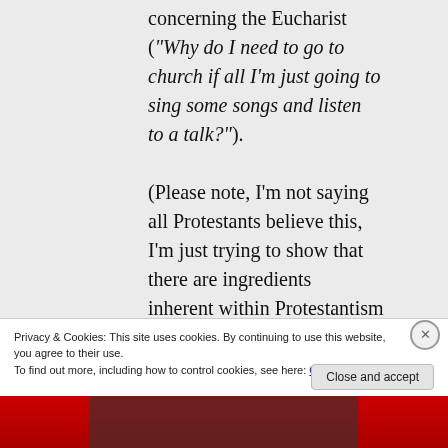concerning the Eucharist (“Why do I need to go to church if all I’m just going to sing some songs and listen to a talk?”). (Please note, I’m not saying all Protestants believe this, I’m just trying to show that there are ingredients inherent within Protestantism
Privacy & Cookies: This site uses cookies. By continuing to use this website, you agree to their use. To find out more, including how to control cookies, see here: Cookie Policy
Close and accept